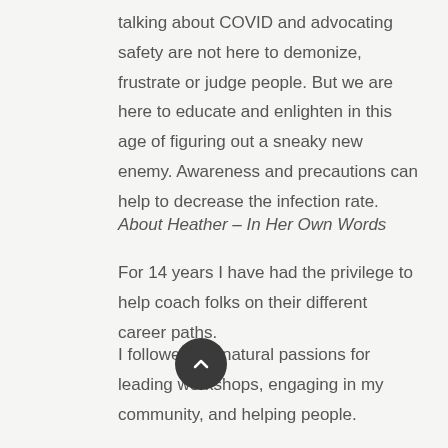talking about COVID and advocating safety are not here to demonize, frustrate or judge people. But we are here to educate and enlighten in this age of figuring out a sneaky new enemy. Awareness and precautions can help to decrease the infection rate.
About Heather – In Her Own Words
For 14 years I have had the privilege to help coach folks on their different career paths.
I followed my natural passions for leading workshops, engaging in my community, and helping people.